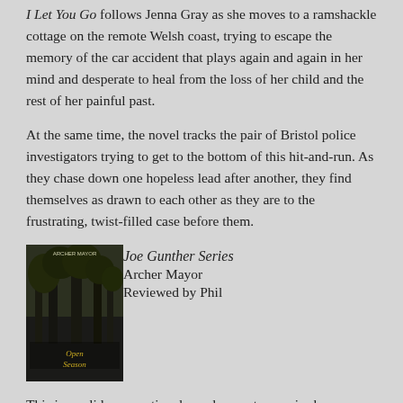I Let You Go follows Jenna Gray as she moves to a ramshackle cottage on the remote Welsh coast, trying to escape the memory of the car accident that plays again and again in her mind and desperate to heal from the loss of her child and the rest of her painful past.
At the same time, the novel tracks the pair of Bristol police investigators trying to get to the bottom of this hit-and-run. As they chase down one hopeless lead after another, they find themselves as drawn to each other as they are to the frustrating, twist-filled case before them.
[Figure (photo): Book cover for Joe Gunther Series by Archer Mayor, showing a dark scene with trees.]
Joe Gunther Series
Archer Mayor
Reviewed by Phil
This is a solid, conventional murder mystery series by a Vermont author. The main protagonist, Joe Gunther, assumes diffreent roles as he grows in stature as a police officer, first with the Brattleboro police department, then with the Vermont Bureau of Investigation. These books are a great read - I usually devour each one in a single sitting.
[Figure (photo): Book cover for Longmire series by Craig Johnson, The Cold Dish.]
Longmire